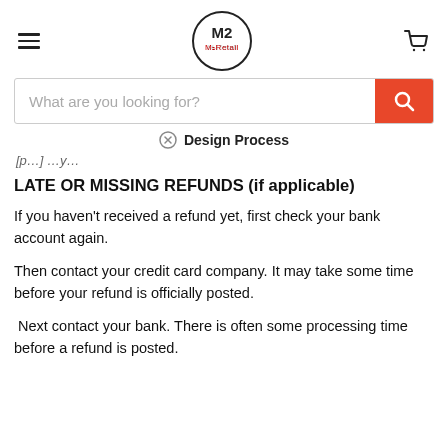M2 Retail — Navigation header with hamburger menu, logo, and cart icon
What are you looking for? [search bar]
Design Process
[partial text above section]
LATE OR MISSING REFUNDS (if applicable)
If you haven't received a refund yet, first check your bank account again.
Then contact your credit card company. It may take some time before your refund is officially posted.
Next contact your bank. There is often some processing time before a refund is posted.